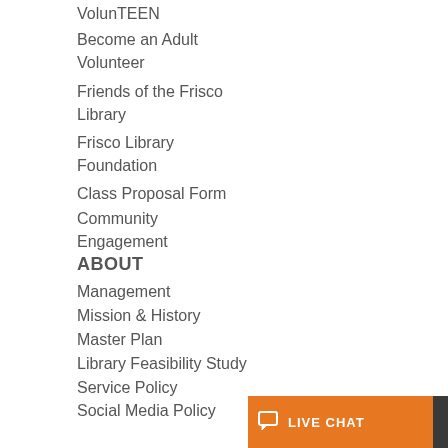VolunTEEN
Become an Adult Volunteer
Friends of the Frisco Library
Frisco Library Foundation
Class Proposal Form
Community Engagement
ABOUT
Management
Mission & History
Master Plan
Library Feasibility Study
Service Policy
Social Media Policy
FAQs
Membership
Borrowing & Returning Items
Account Features